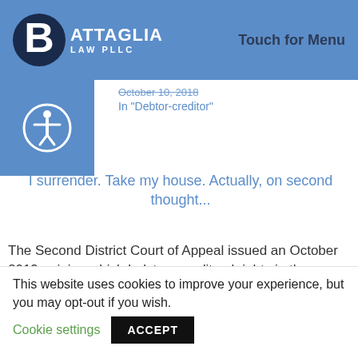BATTAGLIA LAW PLLC | Touch for Menu
October 10, 2018
In "Debtor-creditor"
I surrender. Take my house. Actually, on second thought...
The Second District Court of Appeal issued an October 2019 opinion which bolsters creditors' rights in the recently-
October 15, 2019
In "Bankruptcy"
This website uses cookies to improve your experience, but you may opt-out if you wish. Cookie settings ACCEPT